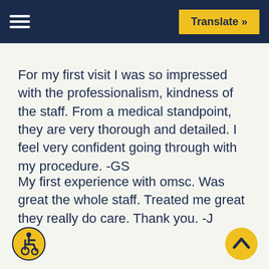Translate »
For my first visit I was so impressed with the professionalism, kindness of the staff. From a medical standpoint, they are very thorough and detailed. I feel very confident going through with my procedure. -GS
My first experience with omsc. Was great the whole staff. Treated me great they really do care. Thank you. -J
[Figure (illustration): Wheelchair accessibility icon — yellow circle with dark blue wheelchair user symbol]
[Figure (illustration): Scroll to top button — yellow circle with dark blue upward chevron arrow]